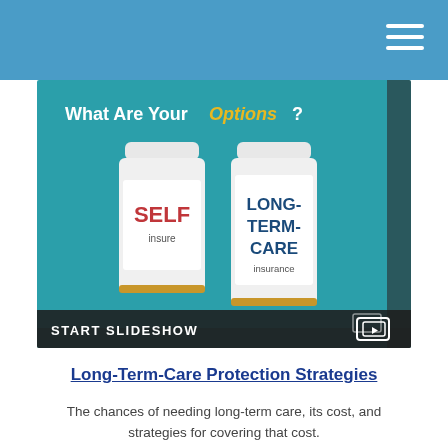[Figure (screenshot): A tablet screen showing two prescription bottles labeled 'SELF insure' and 'LONG-TERM-CARE insurance' on a teal background with the text 'What Are Your Options?' and a 'START SLIDESHOW' bar at the bottom.]
Long-Term-Care Protection Strategies
The chances of needing long-term care, its cost, and strategies for covering that cost.